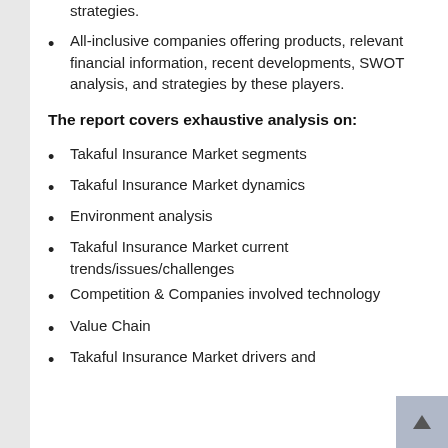of key players, new growths and strategies.
All-inclusive companies offering products, relevant financial information, recent developments, SWOT analysis, and strategies by these players.
The report covers exhaustive analysis on:
Takaful Insurance Market segments
Takaful Insurance Market dynamics
Environment analysis
Takaful Insurance Market current trends/issues/challenges
Competition & Companies involved technology
Value Chain
Takaful Insurance Market drivers and